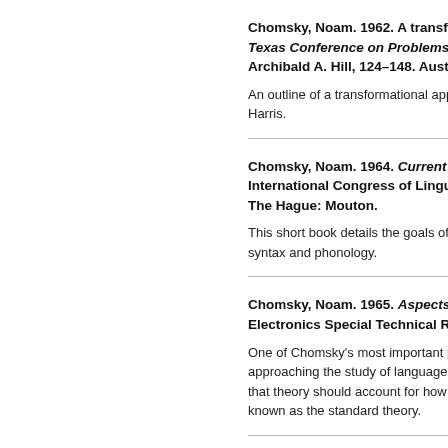Chomsky, Noam. 1962. A transformat… Texas Conference on Problems of Li… Archibald A. Hill, 124–148. Austin: Un…
An outline of a transformational approac… Harris.
Chomsky, Noam. 1964. Current issue… International Congress of Linguists,… The Hague: Mouton.
This short book details the goals of lingu… syntax and phonology.
Chomsky, Noam. 1965. Aspects of th… Electronics Special Technical Report…
One of Chomsky's most important publi… approaching the study of language as a… that theory should account for how a ch… known as the standard theory.